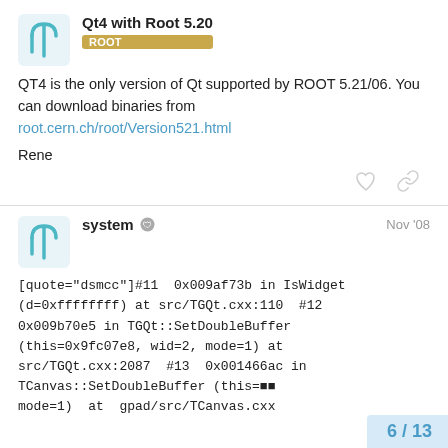Qt4 with Root 5.20 | ROOT
QT4 is the only version of Qt supported by ROOT 5.21/06. You can download binaries from root.cern.ch/root/Version521.html
Rene
system | Nov '08
[quote="dsmcc"]#11 0x009af73b in IsWidget (d=0xffffffff) at src/TGQt.cxx:110 #12 0x009b70e5 in TGQt::SetDoubleBuffer (this=0x9fc07e8, wid=2, mode=1) at src/TGQt.cxx:2087 #13 0x001466ac in TCanvas::SetDoubleBuffer (this= mode=1) at gpad/src/TCanvas.cxx
6 / 13